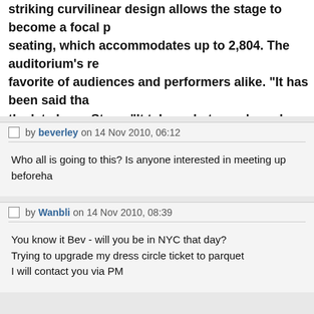striking curvilinear design allows the stage to become a focal p... seating, which accommodates up to 2,804. The auditorium's re... favorite of audiences and performers alike. "It has been said tha... the late Isaac Stern. "It takes what you do and makes it larger th...
by beverley on 14 Nov 2010, 06:12
Who all is going to this? Is anyone interested in meeting up beforeha...
by Wanbli on 14 Nov 2010, 08:39
You know it Bev - will you be in NYC that day?
Trying to upgrade my dress circle ticket to parquet
I will contact you via PM